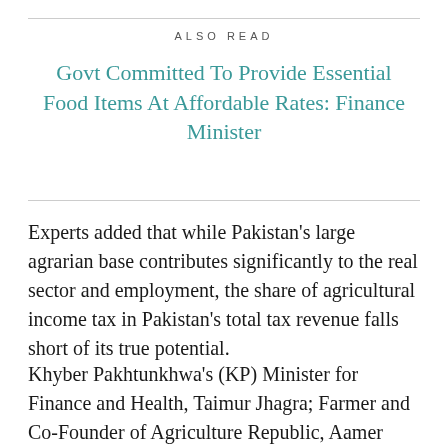ALSO READ
Govt Committed To Provide Essential Food Items At Affordable Rates: Finance Minister
Experts added that while Pakistan’s large agrarian base contributes significantly to the real sector and employment, the share of agricultural income tax in Pakistan’s total tax revenue falls short of its true potential.
Khyber Pakhtunkhwa’s (KP) Minister for Finance and Health, Taimur Jhagra; Farmer and Co-Founder of Agriculture Republic, Aamer Hayat Bhandara; former Senior Economist at the World Bank and Fellow at the Consortium for